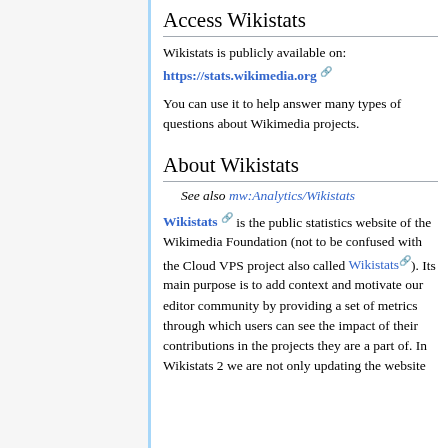Access Wikistats
Wikistats is publicly available on:
https://stats.wikimedia.org
You can use it to help answer many types of questions about Wikimedia projects.
About Wikistats
See also mw:Analytics/Wikistats
Wikistats is the public statistics website of the Wikimedia Foundation (not to be confused with the Cloud VPS project also called Wikistats). Its main purpose is to add context and motivate our editor community by providing a set of metrics through which users can see the impact of their contributions in the projects they are a part of. In Wikistats 2 we are not only updating the website